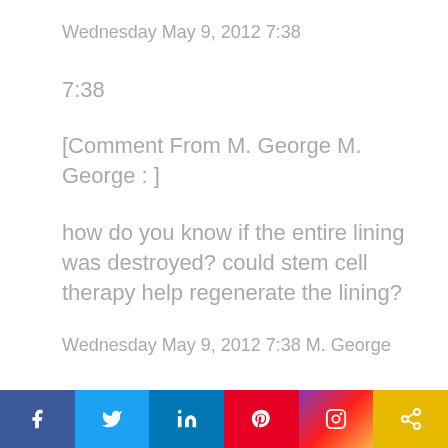Wednesday May 9, 2012 7:38
7:38
[Comment From M. George M. George : ]
how do you know if the entire lining was destroyed? could stem cell therapy help regenerate the lining?
Wednesday May 9, 2012 7:38 M. George
7:39
[Figure (other): Social media sharing bar with icons for Facebook, Twitter, LinkedIn, Pinterest, Instagram, and a share/link icon]